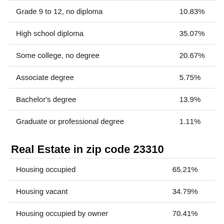| Category | Value |
| --- | --- |
| Grade 9 to 12, no diploma | 10.83% |
| High school diploma | 35.07% |
| Some college, no degree | 20.67% |
| Associate degree | 5.75% |
| Bachelor's degree | 13.9% |
| Graduate or professional degree | 1.11% |
Real Estate in zip code 23310
| Category | Value |
| --- | --- |
| Housing occupied | 65.21% |
| Housing vacant | 34.79% |
| Housing occupied by owner | 70.41% |